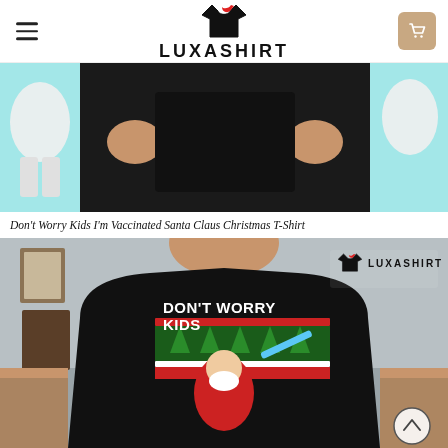LUXASHIRT
[Figure (photo): Product photo showing a person wearing a black Christmas t-shirt with Santa Claus vaccination graphic, teal/cyan background with white outfit graphics on sides]
Don't Worry Kids I'm Vaccinated Santa Claus Christmas T-Shirt
[Figure (photo): Close-up product photo of a tattooed man wearing a black t-shirt printed with 'DON'T WORRY KIDS' text and an ugly Christmas sweater style graphic of Santa Claus holding a vaccine syringe, with LUXASHIRT watermark logo in upper right]